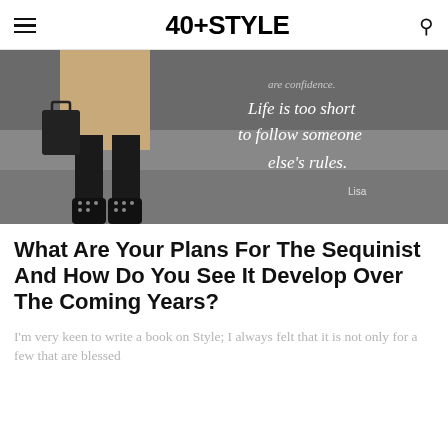40+STYLE
[Figure (photo): Street style photo of a woman's lower body wearing black tights and studded boots, holding a dark handbag, with a scripted quote overlay reading 'Life is too short to follow someone else's rules. Lisa']
What Are Your Plans For The Sequinist And How Do You See It Develop Over The Coming Years?
I'm very keen to write a book on Style; I always felt that it is not only for a few that are blessed